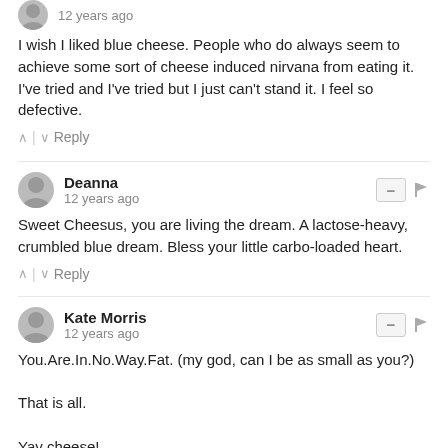12 years ago
I wish I liked blue cheese. People who do always seem to achieve some sort of cheese induced nirvana from eating it. I've tried and I've tried but I just can't stand it. I feel so defective.
^ | v  Reply
Deanna
12 years ago
Sweet Cheesus, you are living the dream. A lactose-heavy, crumbled blue dream. Bless your little carbo-loaded heart.
^ | v  Reply
Kate Morris
12 years ago
You.Are.In.No.Way.Fat. (my god, can I be as small as you?)

That is all.

Yay cheese!
^ | v  Reply
Everywhereist → Kate Morris